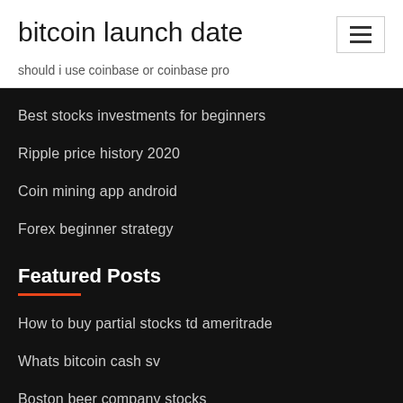bitcoin launch date
should i use coinbase or coinbase pro
Best stocks investments for beginners
Ripple price history 2020
Coin mining app android
Forex beginner strategy
Featured Posts
How to buy partial stocks td ameritrade
Whats bitcoin cash sv
Boston beer company stocks
Digital bitcoin mining